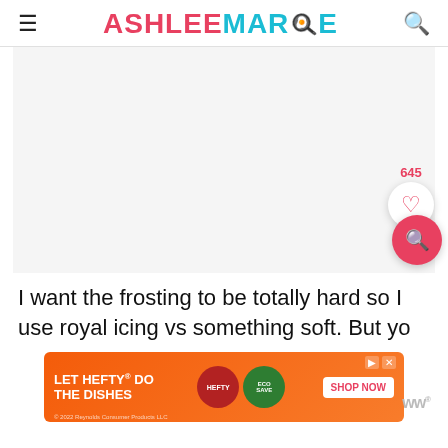ASHLEE MARIE
[Figure (screenshot): Light gray placeholder/ad area below the site header]
645
I want the frosting to be totally hard so I use royal icing vs something soft. But yo
[Figure (infographic): Orange advertisement banner: LET HEFTY DO THE DISHES with product images and SHOP NOW button]